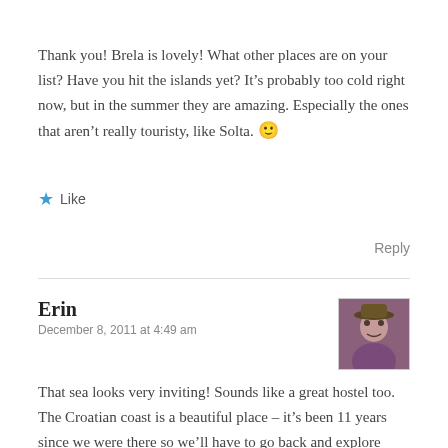Thank you! Brela is lovely! What other places are on your list? Have you hit the islands yet? It’s probably too cold right now, but in the summer they are amazing. Especially the ones that aren’t really touristy, like Solta. 🙂
★ Like
Reply
Erin
December 8, 2011 at 4:49 am
That sea looks very inviting! Sounds like a great hostel too. The Croatian coast is a beautiful place – it’s been 11 years since we were there so we’ll have to go back and explore some more of it.
★ Like